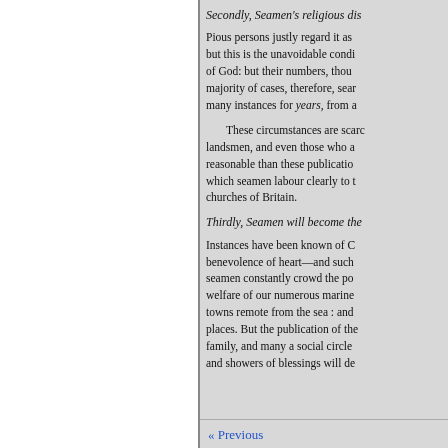Secondly, Seamen's religious dis
Pious persons justly regard it as but this is the unavoidable condi of God: but their numbers, thou majority of cases, therefore, sear many instances for years, from a
These circumstances are scarcely landsmen, and even those who a reasonable than these publicatio which seamen labour clearly to t churches of Britain.
Thirdly, Seamen will become the
Instances have been known of C benevolence of heart—and such seamen constantly crowd the po welfare of our numerous marine towns remote from the sea : and places. But the publication of th family, and many a social circle and showers of blessings will de
« Previous